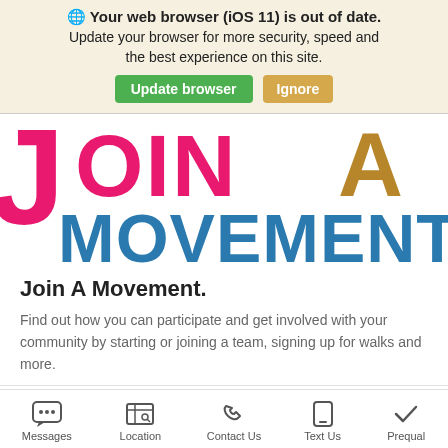🌐 Your web browser (iOS 11) is out of date. Update your browser for more security, speed and the best experience on this site. [Update browser] [Ignore]
[Figure (illustration): Large colorful text reading 'JOIN A MOVEMENT' - 'JOIN A' in pink and gold/tan colors, 'MOVEMENT' in blue, displayed as a banner/logo graphic]
Join A Movement.
Find out how you can participate and get involved with your community by starting or joining a team, signing up for walks and more.
Messages | Location | Contact Us | Text Us | Prequal